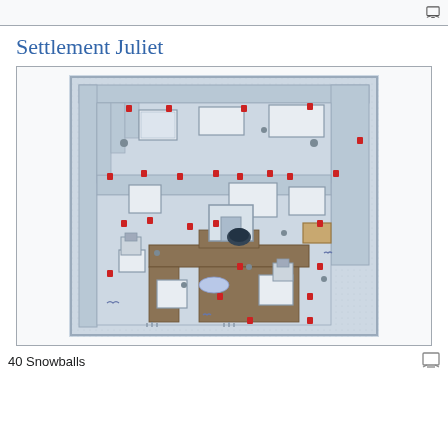Settlement Juliet
[Figure (map): Top-down pixel art map of Settlement Juliet, showing a snowy settlement with paths, buildings, trees, and various map markers in red. The map uses a retro RPG game style with grey/blue tones for snow-covered terrain and brown paths.]
40 Snowballs